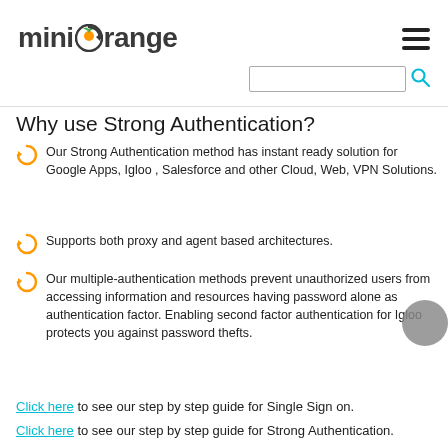miniOrange [logo with hamburger menu and search bar]
Why use Strong Authentication?
Our Strong Authentication method has instant ready solution for Google Apps, Igloo , Salesforce and other Cloud, Web, VPN Solutions.
Supports both proxy and agent based architectures.
Our multiple-authentication methods prevent unauthorized users from accessing information and resources having password alone as authentication factor. Enabling second factor authentication for Igloo protects you against password thefts.
Click here to see our step by step guide for Single Sign on.
Click here to see our step by step guide for Strong Authentication.